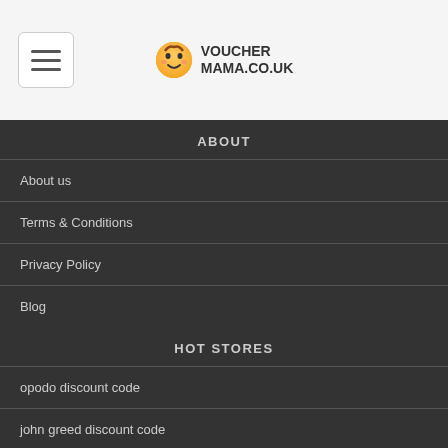[Figure (logo): VoucherMama.co.uk logo with emoji face icon and bold text]
ABOUT
About us
Terms & Conditions
Privacy Policy
Blog
HOT STORES
opodo discount code
john greed discount code
qhotels discount code
smartbuyglasses discount code